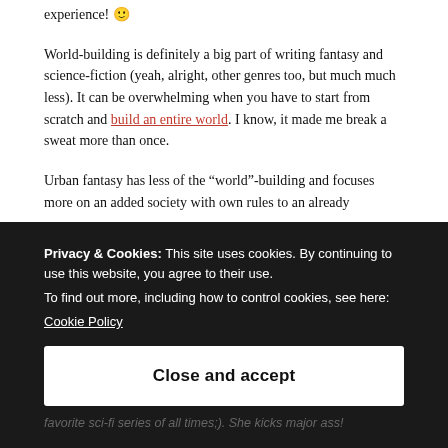experience! 🙂
World-building is definitely a big part of writing fantasy and science-fiction (yeah, alright, other genres too, but much much less). It can be overwhelming when you have to start from scratch and build an entire world. I know, it made me break a sweat more than once.
Urban fantasy has less of the “world”-building and focuses more on an added society with own rules to an already
Privacy & Cookies: This site uses cookies. By continuing to use this website, you agree to their use.
To find out more, including how to control cookies, see here:
Cookie Policy
Close and accept
favorite sci-fi series of all times;). She kicks major ass!